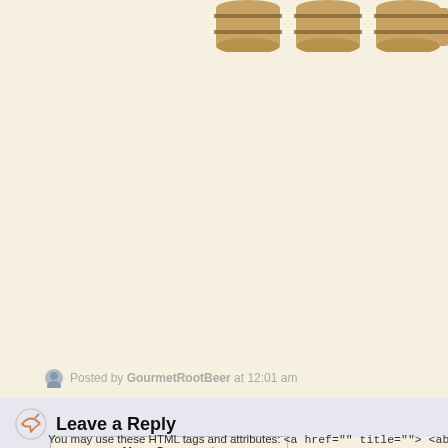[Figure (illustration): Three wooden barrel illustrations partially visible at top-right corner of page]
Posted by GourmetRootBeer at 12:01 am
Leave a Reply
| Your Comment |
| --- |
|  |
You may use these HTML tags and attributes: <a href="" title=""> <abb